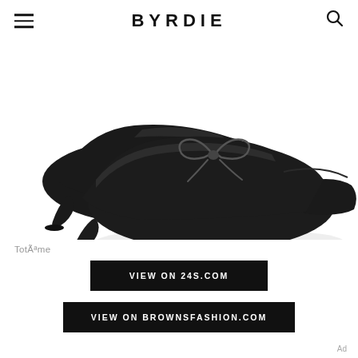BYRDIE
[Figure (photo): Black suede kitten heel loafers with bow detail, shown as a pair on white background]
TotÃªme
VIEW ON 24S.COM
VIEW ON BROWNSFASHION.COM
Ad